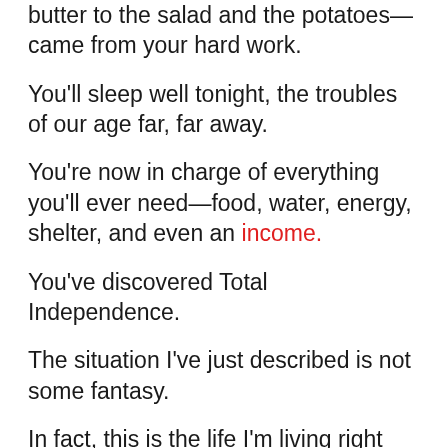Everything on the table—from the beer and the butter to the salad and the potatoes—came from your hard work.
You'll sleep well tonight, the troubles of our age far, far away.
You're now in charge of everything you'll ever need—food, water, energy, shelter, and even an income.
You've discovered Total Independence.
The situation I've just described is not some fantasy.
In fact, this is the life I'm living right now as you read this. I am beholden to absolutely no one.
Politics, pandemics, social unrest, recessions